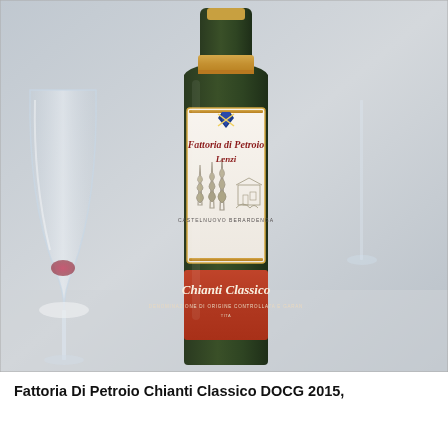[Figure (photo): Close-up photograph of a wine bottle label for Fattoria di Petroio Lenzi Chianti Classico DOCG, showing the white top label with cursive red text 'Fattoria di Petroio' and 'Lenzi', an illustration of cypress trees and a farmhouse, 'Castelnuovo Berardenga' text, a blue heraldic shield crest, and a terracotta-red lower band label reading 'Chianti Classico' with 'Denominazione di Origine Controllata e Garantita' text. A wine glass with red wine residue is visible to the left.]
Fattoria Di Petroio Chianti Classico DOCG 2015,